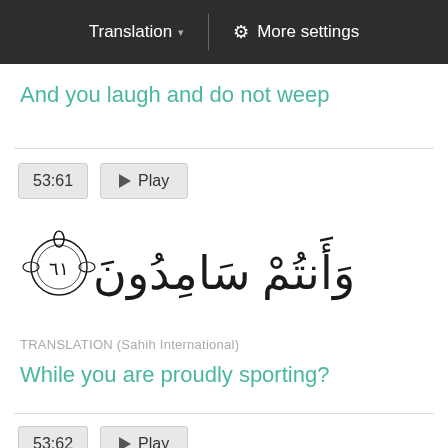Translation ▾  |  ⚙ More settings
And you laugh and do not weep
53:61  ▶ Play
[Figure (other): Arabic Quranic verse 53:61 with ornamental verse number circle, reading: وَأَنتُمْ سَامِدُونَ]
TRANSLATION (Sahih International)
While you are proudly sporting?
53:62  ▶ Play